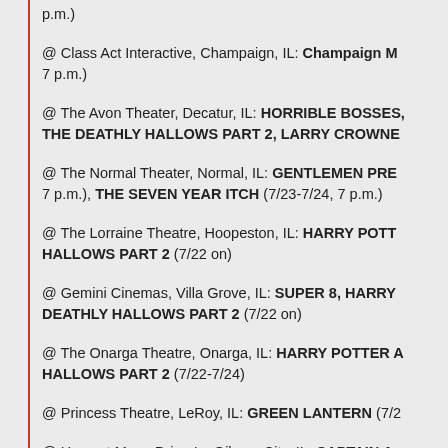p.m.)
@ Class Act Interactive, Champaign, IL: Champaign M... 7 p.m.)
@ The Avon Theater, Decatur, IL: HORRIBLE BOSSES, THE DEATHLY HALLOWS PART 2, LARRY CROWNE
@ The Normal Theater, Normal, IL: GENTLEMEN PRE... 7 p.m.), THE SEVEN YEAR ITCH (7/23-7/24, 7 p.m.)
@ The Lorraine Theatre, Hoopeston, IL: HARRY POTT... HALLOWS PART 2 (7/22 on)
@ Gemini Cinemas, Villa Grove, IL: SUPER 8, HARRY ... DEATHLY HALLOWS PART 2 (7/22 on)
@ The Onarga Theatre, Onarga, IL: HARRY POTTER A... HALLOWS PART 2 (7/22-7/24)
@ Princess Theatre, LeRoy, IL: GREEN LANTERN (7/2...
@ Harvest Moon Drive-In, Gibson City, IL: CAPTAIN A... AVENGER, HARRY POTTER AND THE DEATHLY HA...
@ Route 66 Drive-In, Springfield, IL: HARRY POTTER ... HALLOWS PART 2, GREEN LANTERN, CAPTAIN A...